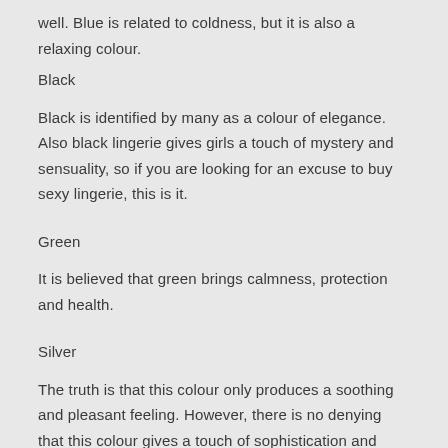well. Blue is related to coldness, but it is also a relaxing colour.
Black
Black is identified by many as a colour of elegance. Also black lingerie gives girls a touch of mystery and sensuality, so if you are looking for an excuse to buy sexy lingerie, this is it.
Green
It is believed that green brings calmness, protection and health.
Silver
The truth is that this colour only produces a soothing and pleasant feeling. However, there is no denying that this colour gives a touch of sophistication and goes well with